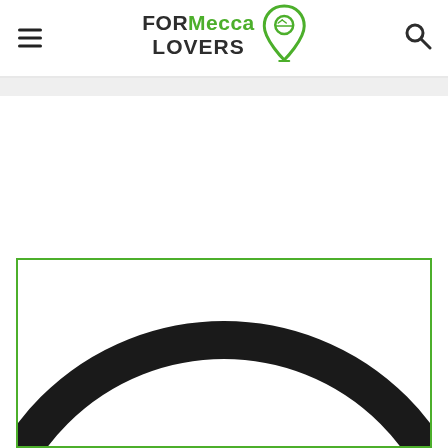[Figure (logo): FORMecca LOVERS logo with green location pin icon and hamburger menu on left, search icon on right]
[Figure (illustration): Partial view of a circular arc/ring shape (thick black outline) visible inside a green-bordered rectangle box, cropped at the bottom of the page]